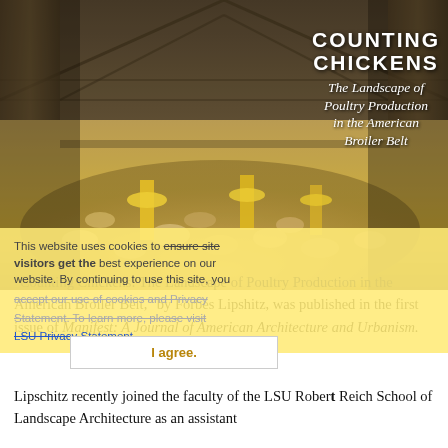[Figure (photo): Interior of a large poultry barn filled with broiler chickens on the floor, with yellow feeding equipment visible, industrial barn structure with metal trusses overhead]
COUNTING CHICKENS The Landscape of Poultry Production in the American Broiler Belt
This website uses cookies to ensure site visitors get the best experience on our website. By continuing to use this site, you accept our use of cookies and Privacy Statement. To learn more, please visit LSU Privacy Statement.
I agree.
"Counting Chickens: The Landscape of Poultry Production in the American Broiler Belt," by Forbes Lipshitz, was published in the first issue of Manifest: A Journal of American Architecture and Urbanism.
Lipschitz recently joined the faculty of the LSU Robert Reich School of Landscape Architecture as an assistant